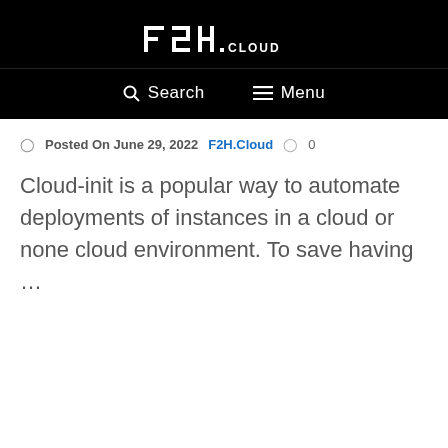F2H.CLOUD
Search   Menu
Posted On June 29, 2022   F2H.Cloud   0
Cloud-init is a popular way to automate deployments of instances in a cloud or none cloud environment. To save having …